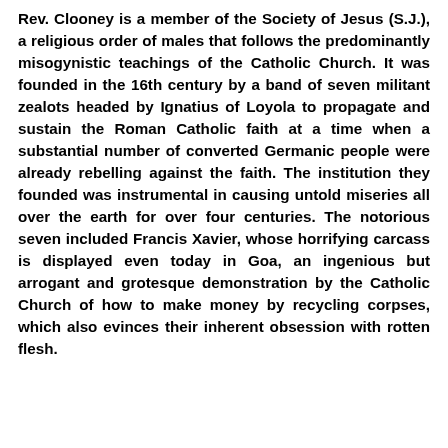Rev. Clooney is a member of the Society of Jesus (S.J.), a religious order of males that follows the predominantly misogynistic teachings of the Catholic Church. It was founded in the 16th century by a band of seven militant zealots headed by Ignatius of Loyola to propagate and sustain the Roman Catholic faith at a time when a substantial number of converted Germanic people were already rebelling against the faith. The institution they founded was instrumental in causing untold miseries all over the earth for over four centuries. The notorious seven included Francis Xavier, whose horrifying carcass is displayed even today in Goa, an ingenious but arrogant and grotesque demonstration by the Catholic Church of how to make money by recycling corpses, which also evinces their inherent obsession with rotten flesh.